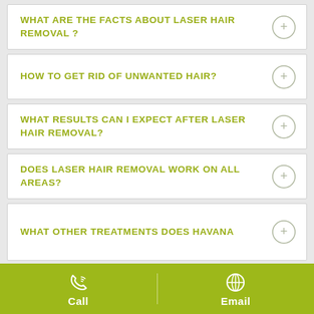WHAT ARE THE FACTS ABOUT LASER HAIR REMOVAL ?
HOW TO GET RID OF UNWANTED HAIR?
WHAT RESULTS CAN I EXPECT AFTER LASER HAIR REMOVAL?
DOES LASER HAIR REMOVAL WORK ON ALL AREAS?
WHAT OTHER TREATMENTS DOES HAVANA
Call   Email